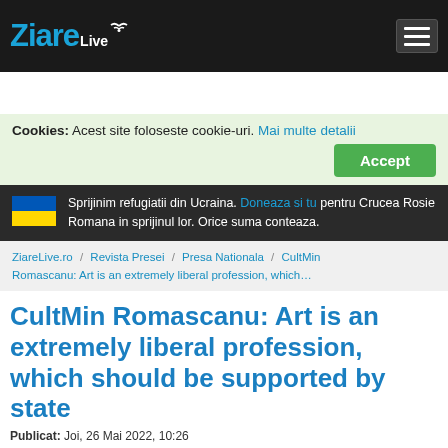ZiareLive
Cookies: Acest site foloseste cookie-uri. Mai multe detalii Accept
Sprijinim refugiatii din Ucraina. Doneaza si tu pentru Crucea Rosie Romana in sprijinul lor. Orice suma conteaza.
ZiareLive.ro / Revista Presei / Presa Nationala / CultMin Romascanu: Art is an extremely liberal profession, which…
CultMin Romascanu: Art is an extremely liberal profession, which should be supported by state
Publicat: Joi, 26 Mai 2022, 10:26